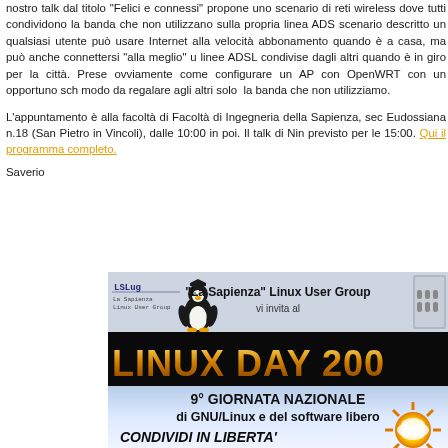nostro talk dal titolo 'Felici e connessi' propone uno scenario di reti wireless dove tutti condividono la banda che non utilizzano sulla propria linea ADSL. scenario descritto un qualsiasi utente può usare Internet alla velocità abbonamento quando è a casa, ma può anche connettersi "alla meglio" u linee ADSL condivise dagli altri quando è in giro per la città. Prese ovviamente come configurare un AP con OpenWRT con un opportuno sch modo da regalare agli altri solo la banda che non utilizziamo.
L'appuntamento è alla facoltà di Facoltà di Ingegneria della Sapienza, sec Eudossiana n.18 (San Pietro in Vincoli), dalle 10:00 in poi. Il talk di Nin previsto per le 15:00. Qui il programma completo.
Saverio
[Figure (infographic): Linux Day banner for La Sapienza Linux User Group. Top section shows lslug logo with penguin mascot and text '"La Sapienza" Linux User Group vi invita al'. Below is a black bar with golden metallic text 'LINUX DAY 200'. Bottom section on blue-white gradient shows '9° GIORNATA NAZIONALE di GNU/Linux e del software libero' and 'CONDIVIDI IN LIBERTA'' with a sun graphic.]